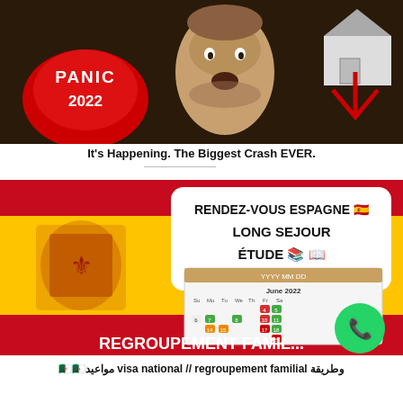[Figure (screenshot): Thumbnail image showing a red button labeled '2022', a man's face, and a house graphic with panic-related imagery. Text 'PANIC 2022' visible.]
It's Happening. The Biggest Crash EVER.
[Figure (screenshot): Thumbnail with Spanish flag colors (red and yellow), text 'RENDEZ-VOUS ESPAGNE LONG SEJOUR ÉTUDE' with emoji, a calendar showing June 2022, coat of arms, and WhatsApp icon. Bottom text 'REGROUPEMENT FAMIL...']
وطريقة visa national // regroupement familial مواعيد